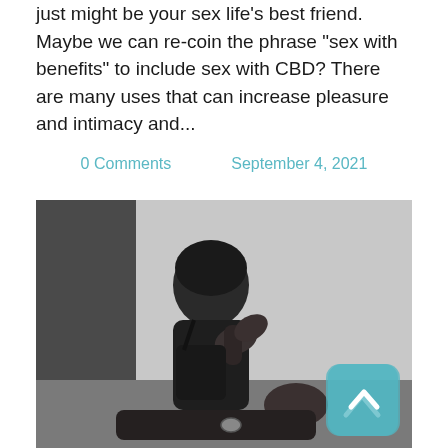just might be your sex life's best friend. Maybe we can re-coin the phrase "sex with benefits" to include sex with CBD? There are many uses that can increase pleasure and intimacy and...
0 Comments   September 4, 2021
[Figure (photo): Black and white photo of a woman sitting upright looking at camera, with another person lying down, intimate scene]